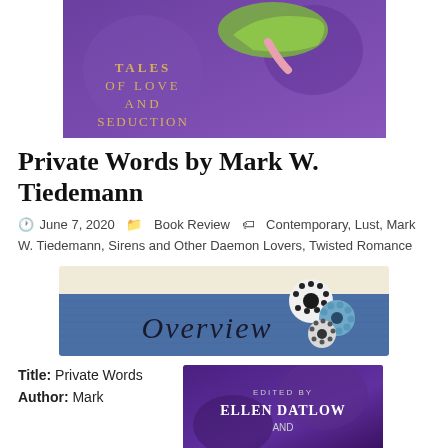[Figure (photo): Book cover image showing purple background with text 'Tales of Love and Seduction' in gold lettering and a green high-heeled shoe]
Private Words by Mark W. Tiedemann
June 7, 2020   Book Review   Contemporary, Lust, Mark W. Tiedemann, Sirens and Other Daemon Lovers, Twisted Romance
[Figure (illustration): Overview banner image with denim blue background, cream top strip, text 'Overview' in large serif font, and decorative fabric flowers on the right]
Title: Private Words
Author: Mark
[Figure (photo): Book cover showing 'Edited by Ellen Datlow and...' text on dark purple background]